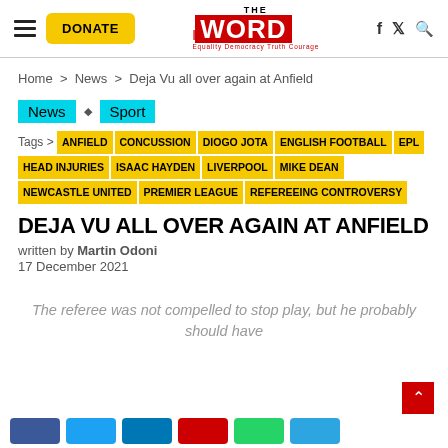THE WORD — Equality Democracy Truth Courage — DONATE — navigation icons
Home > News > Deja Vu all over again at Anfield
News ◆ Sport
Tags > ANFIELD CONCUSSION DIOGO JOTA ENGLISH FOOTBALL EPL HEAD INJURIES ISAAC HAYDEN LIVERPOOL MIKE DEAN NEWCASTLE UNITED PREMIER LEAGUE REFEREEING CONTROVERSY
DEJA VU ALL OVER AGAIN AT ANFIELD
written by Martin Odoni
17 December 2021
The referee was not compelled to stop play, but he probably should have